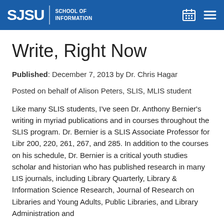SJSU SCHOOL OF INFORMATION
Write, Right Now
Published: December 7, 2013 by Dr. Chris Hagar
Posted on behalf of Alison Peters, SLIS, MLIS student
Like many SLIS students, I've seen Dr. Anthony Bernier's writing in myriad publications and in courses throughout the SLIS program. Dr. Bernier is a SLIS Associate Professor for Libr 200, 220, 261, 267, and 285. In addition to the courses on his schedule, Dr. Bernier is a critical youth studies scholar and historian who has published research in many LIS journals, including Library Quarterly, Library & Information Science Research, Journal of Research on Libraries and Young Adults, Public Libraries, and Library Administration and